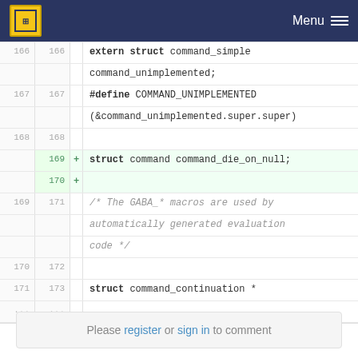Menu
[Figure (screenshot): Code diff view showing C source code lines 166-173 with two added lines (169-170) highlighted in green. Lines show extern struct command_simple command_unimplemented; #define COMMAND_UNIMPLEMENTED macro, struct command command_die_on_null; addition, and comment about GABA_* macros and struct command_continuation.]
Please register or sign in to comment